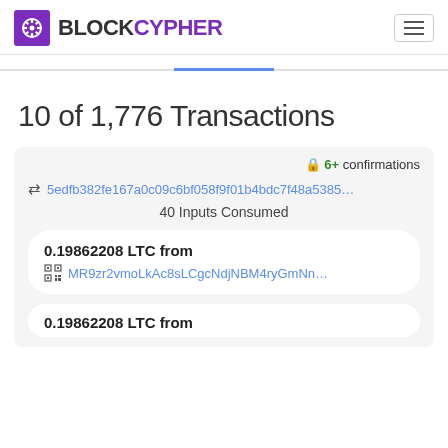BLOCKCYPHER
10 of 1,776 Transactions
🔒 6+ confirmations
⇌ 5edfb382fe167a0c09c6bf058f9f01b4bdc7f48a5385...
40 Inputs Consumed
0.19862208 LTC from MR9zr2vmoLkAc8sLCgcNdjNBM4ryGmNn...
0.19862208 LTC from (partial)